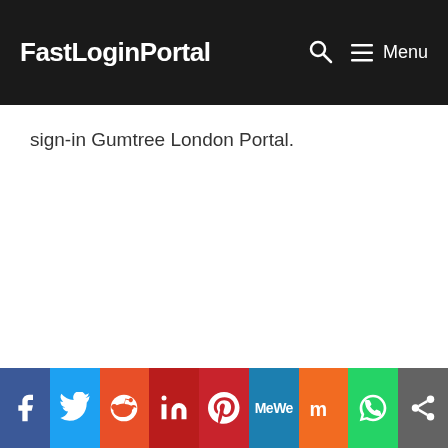FastLoginPortal  🔍  ☰ Menu
sign-in Gumtree London Portal.
[Figure (other): Social sharing bar with icons for Facebook, Twitter, Reddit, LinkedIn, Pinterest, MeWe, Mix, WhatsApp, and a share button]